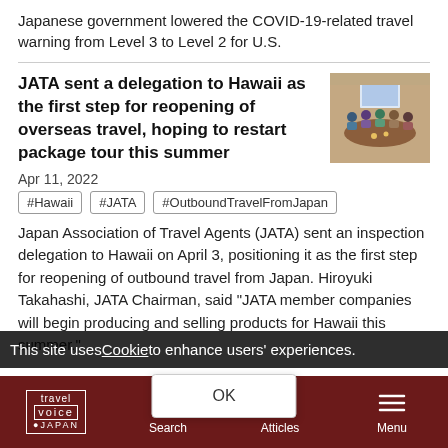Japanese government lowered the COVID-19-related travel warning from Level 3 to Level 2 for U.S.
JATA sent a delegation to Hawaii as the first step for reopening of overseas travel, hoping to restart package tour this summer
[Figure (photo): Group of people seated around a conference table in a meeting room, seen from behind, with a presentation screen at the front.]
Apr 11, 2022
#Hawaii
#JATA
#OutboundTravelFromJapan
Japan Association of Travel Agents (JATA) sent an inspection delegation to Hawaii on April 3, positioning it as the first step for reopening of outbound travel from Japan. Hiroyuki Takahashi, JATA Chairman, said "JATA member companies will begin producing and selling products for Hawaii this summer."
This site uses Cookie to enhance users' experiences.
OK